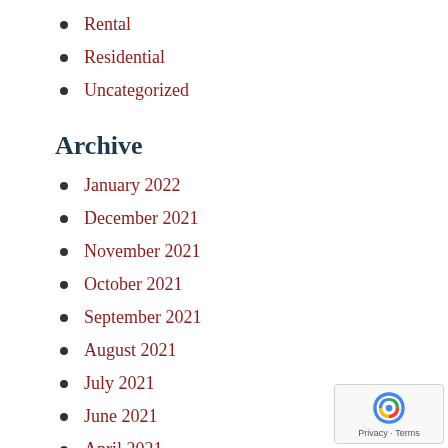Rental
Residential
Uncategorized
Archive
January 2022
December 2021
November 2021
October 2021
September 2021
August 2021
July 2021
June 2021
April 2021
March 2021